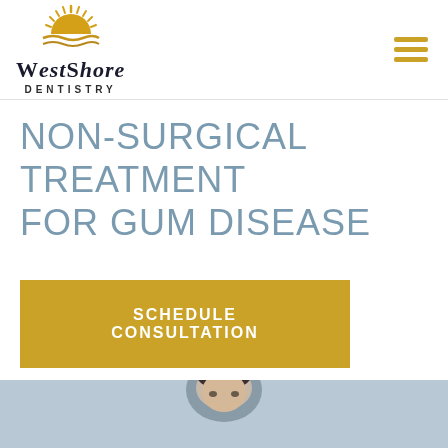[Figure (logo): WestShore Dentistry logo with golden sun rising over water graphic above the text WESTSHORE DENTISTRY]
NON-SURGICAL TREATMENT FOR GUM DISEASE
SCHEDULE CONSULTATION
[Figure (photo): Close-up photo of a man's face, slightly downward angle, showing dark hair and facial features against a light blue-grey background]